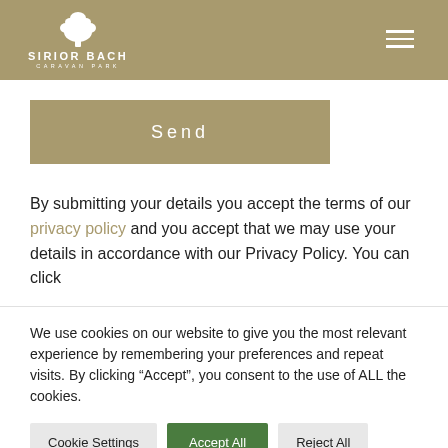[Figure (logo): Sirior Bach Caravan Park logo with white tree icon and text on khaki/tan background header]
[Figure (illustration): Hamburger menu icon (three horizontal white lines) in top right of header]
Send
By submitting your details you accept the terms of our privacy policy and you accept that we may use your details in accordance with our Privacy Policy. You can click
We use cookies on our website to give you the most relevant experience by remembering your preferences and repeat visits. By clicking "Accept", you consent to the use of ALL the cookies.
Cookie Settings
Accept All
Reject All